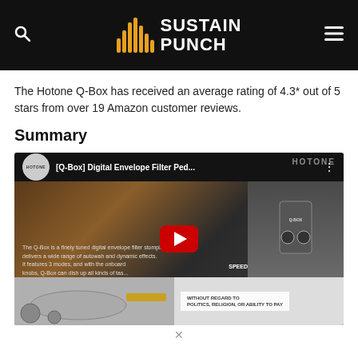SustainPunch
The Hotone Q-Box has received an average rating of 4.3* out of 5 stars from over 19 Amazon customer reviews.
Summary
[Figure (screenshot): YouTube video thumbnail for Hotone [Q-Box] Digital Envelope Filter Ped... with play button overlay and advertisement at the bottom]